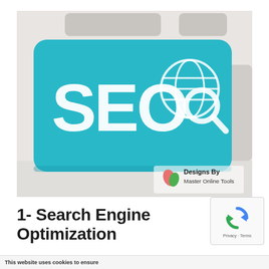[Figure (photo): A teal/blue keyboard key with 'SEO' text in white and a globe with magnifying glass icon, on a white keyboard background. Bottom right has 'Designs By Master Online Tools' logo with leaf icons.]
1- Search Engine Optimization
[Figure (other): reCAPTCHA widget with spinning arrow logo, Privacy and Terms links below]
This website uses cookies to ensure